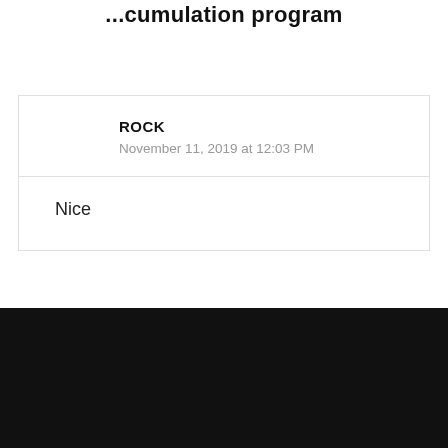...cumulation program
ROCK
November 11, 2019 at 12:03 PM
Nice